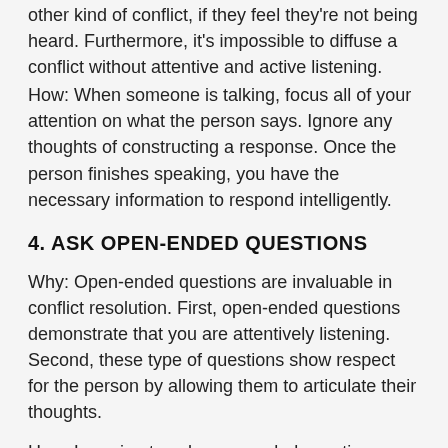other kind of conflict, if they feel they're not being heard. Furthermore, it's impossible to diffuse a conflict without attentive and active listening.
How: When someone is talking, focus all of your attention on what the person says. Ignore any thoughts of constructing a response. Once the person finishes speaking, you have the necessary information to respond intelligently.
4. ASK OPEN-ENDED QUESTIONS
Why: Open-ended questions are invaluable in conflict resolution. First, open-ended questions demonstrate that you are attentively listening. Second, these type of questions show respect for the person by allowing them to articulate their thoughts.
How: Learning to ask open-ended questions can